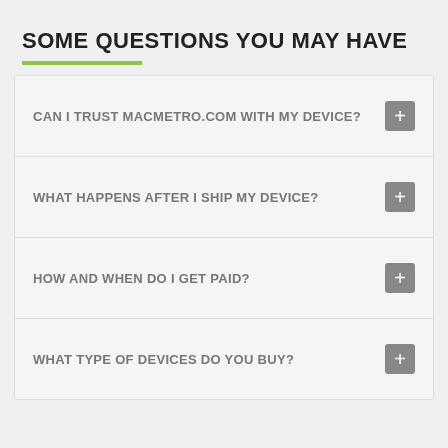SOME QUESTIONS YOU MAY HAVE
CAN I TRUST MacMetro.com WITH MY DEVICE?
WHAT HAPPENS AFTER I SHIP MY DEVICE?
HOW AND WHEN DO I GET PAID?
WHAT TYPE OF DEVICES DO YOU BUY?